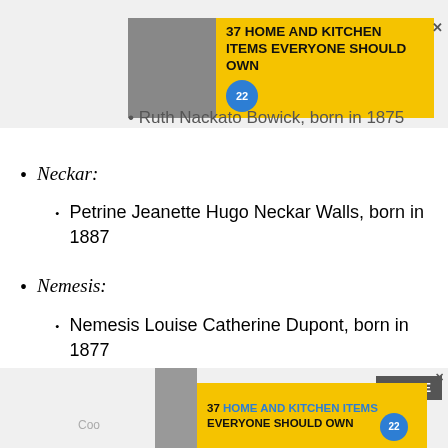[Figure (infographic): Advertisement banner: 37 HOME AND KITCHEN ITEMS EVERYONE SHOULD OWN with yellow background, image of food/kitchen items, and circular badge with number 22]
Ruth Nackato Bowick, born in 1875
Neckar:
Petrine Jeanette Hugo Neckar Walls, born in 1887
Nemesis:
Nemesis Louise Catherine Dupont, born in 1877
We use cookies on our website to give you the most relevant experience by remembering your preferences and repeat visits. By clicking “Accept”, you consent to the use of ALL the cookies.
Do not sell my personal information.
[Figure (infographic): Bottom advertisement banner: 37 HOME AND KITCHEN ITEMS EVERYONE SHOULD OWN with yellow background and circular 22 badge, CLOSE button]